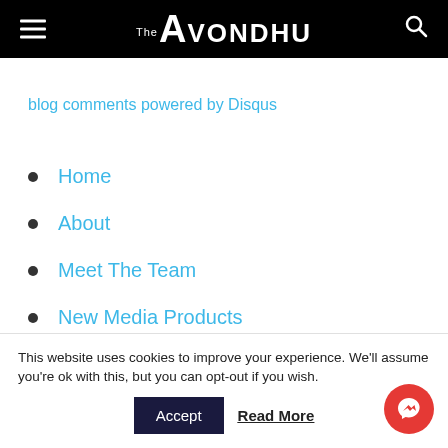The Avondhu
blog comments powered by Disqus
Home
About
Meet The Team
New Media Products
Terms
This website uses cookies to improve your experience. We'll assume you're ok with this, but you can opt-out if you wish.
Accept
Read More